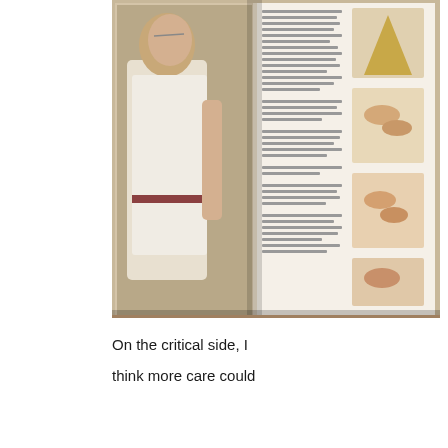[Figure (photo): A photograph of an open book/magazine lying on a wooden surface. The left page shows a woman in white clothing photographed from the side, and the right page shows text columns alongside several step-by-step instructional images showing hands performing a technique.]
On the critical side, I think more care could